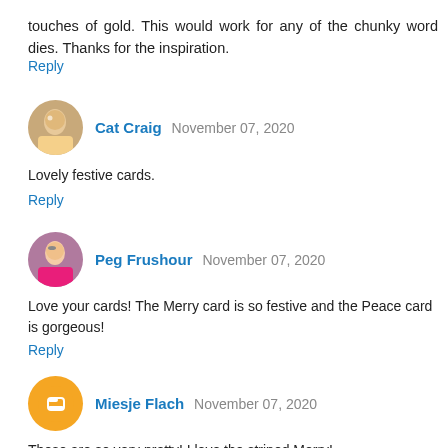touches of gold. This would work for any of the chunky word dies. Thanks for the inspiration.
Reply
Cat Craig  November 07, 2020
Lovely festive cards.
Reply
Peg Frushour  November 07, 2020
Love your cards! The Merry card is so festive and the Peace card is gorgeous!
Reply
Miesje Flach  November 07, 2020
These are so very pretty! I love the striped Merry!
Reply